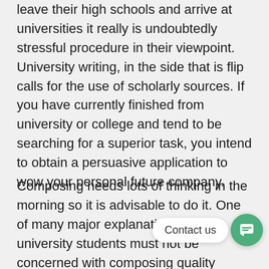leave their high schools and arrive at universities it really is undoubtedly stressful procedure in their viewpoint. University writing, in the side that is flip calls for the use of scholarly sources. If you have currently finished from university or college and tend to be searching for a superior task, you intend to obtain a persuasive application to wow your personal future company.
Composing needs lots of thinking in the morning so it is advisable to do it. One of many major explanations for why university students must not be concerned with composing quality college essays is the inescapable fact that assistance with writing has a solution that is common and available nowadays. When available, you can afford to find out how hard...